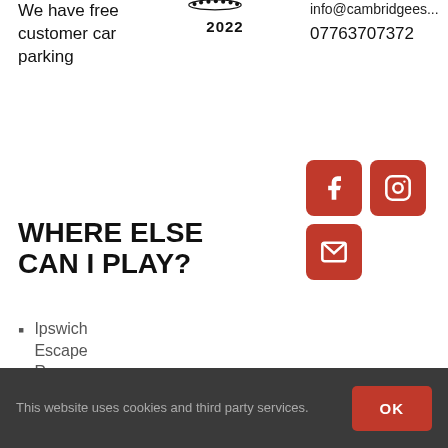We have free customer car parking
[Figure (logo): Award logo with dots arc and year 2022]
info@cambridgees... 07763707372
[Figure (infographic): Social media icons: Facebook, Instagram, Email - red rounded square buttons]
WHERE ELSE CAN I PLAY?
Ipswich Escape Rooms
Play At Home
This website uses cookies and third party services.